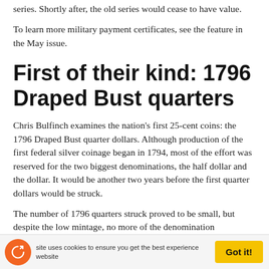series. Shortly after, the old series would cease to have value.
To learn more military payment certificates, see the feature in the May issue.
First of their kind: 1796 Draped Bust quarters
Chris Bulfinch examines the nation's first 25-cent coins: the 1796 Draped Bust quarter dollars. Although production of the first federal silver coinage began in 1794, most of the effort was reserved for the two biggest denominations, the half dollar and the dollar. It would be another two years before the first quarter dollars would be struck.
The number of 1796 quarters struck proved to be small, but despite the low mintage, no more of the denomination
This site uses cookies to ensure you get the best experience on our website